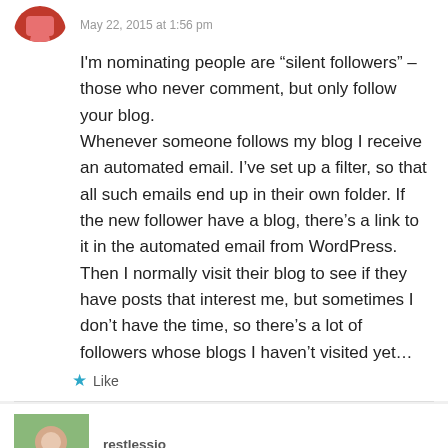May 22, 2015 at 1:56 pm
I'm nominating people are “silent followers” – those who never comment, but only follow your blog.
Whenever someone follows my blog I receive an automated email. I’ve set up a filter, so that all such emails end up in their own folder. If the new follower have a blog, there’s a link to it in the automated email from WordPress. Then I normally visit their blog to see if they have posts that interest me, but sometimes I don’t have the time, so there’s a lot of followers whose blogs I haven’t visited yet…
★ Like
restlessjo
May 22, 2015 at 5:23 pm